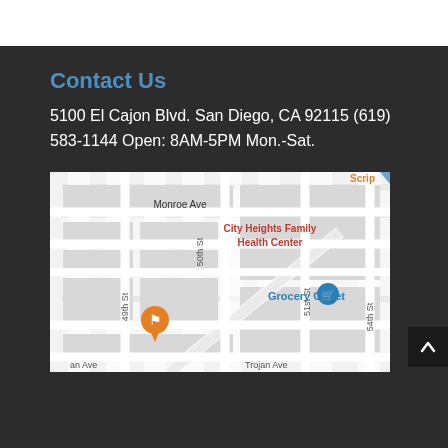Contact Us
5100 El Cajon Blvd. San Diego, CA 92115 (619) 583-1144 Open: 8AM-5PM Mon.-Sat.
[Figure (map): Google Maps showing the area around 5100 El Cajon Blvd, San Diego, CA 92115. Visible street labels include Monroe Ave, 49th St, 50th St, 51st St, 54th St, Trojan Ave, and an Ave label. Points of interest shown: City Heights Family Health Center (red label), Grocery Outlet (blue pin with cart icon), and an orange restaurant pin marker. The label 'Scrip' appears in orange at top right.]